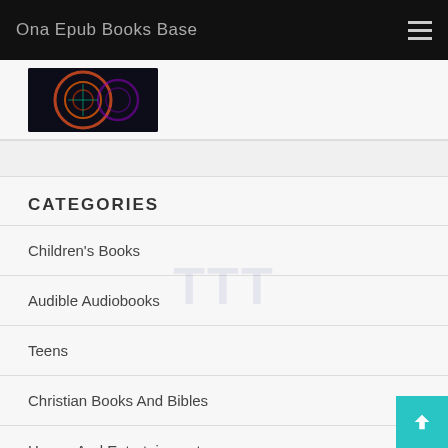Ona Epub Books Base
[Figure (photo): Book cover image on dark background with circular graphics]
CATEGORIES
Children's Books
Audible Audiobooks
Teens
Christian Books And Bibles
Humor And Entertainment
Religion And Spirituality